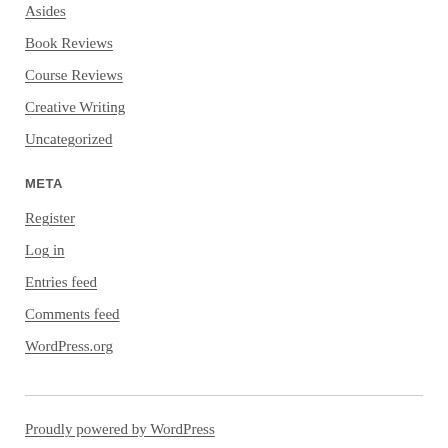Asides
Book Reviews
Course Reviews
Creative Writing
Uncategorized
META
Register
Log in
Entries feed
Comments feed
WordPress.org
Proudly powered by WordPress